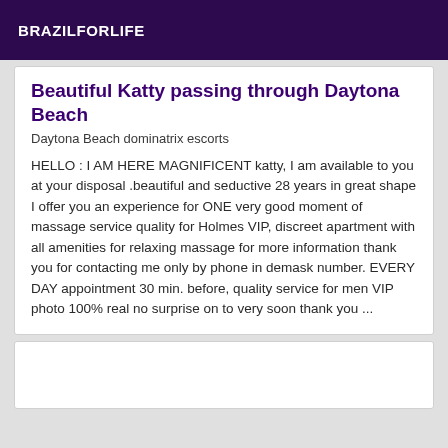BRAZILFORLIFE
Beautiful Katty passing through Daytona Beach
Daytona Beach dominatrix escorts
HELLO : I AM HERE MAGNIFICENT katty, I am available to you at your disposal .beautiful and seductive 28 years in great shape I offer you an experience for ONE very good moment of massage service quality for Holmes VIP, discreet apartment with all amenities for relaxing massage for more information thank you for contacting me only by phone in demask number. EVERY DAY appointment 30 min. before, quality service for men VIP photo 100% real no surprise on to very soon thank you ...